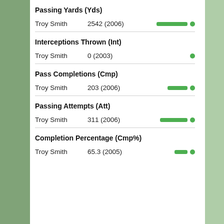Passing Yards (Yds)
Troy Smith   2542 (2006)
Interceptions Thrown (Int)
Troy Smith   0 (2003)
Pass Completions (Cmp)
Troy Smith   203 (2006)
Passing Attempts (Att)
Troy Smith   311 (2006)
Completion Percentage (Cmp%)
Troy Smith   65.3 (2005)